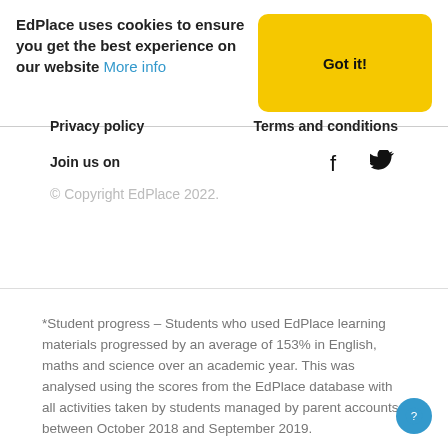EdPlace uses cookies to ensure you get the best experience on our website More info Got it!
Privacy policy
Terms and conditions
Join us on
[Figure (illustration): Facebook and Twitter social media icons]
© Copyright EdPlace 2022.
*Student progress – Students who used EdPlace learning materials progressed by an average of 153% in English, maths and science over an academic year. This was analysed using the scores from the EdPlace database with all activities taken by students managed by parent accounts between October 2018 and September 2019.
*We have no affiliation to OCR, Pearson Edexcel, AQA, Eduqas and these questions represent our own unique